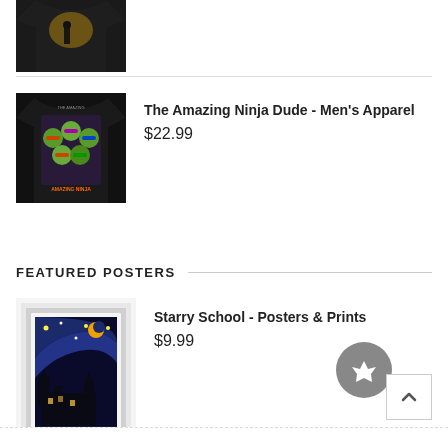[Figure (photo): Partial view of a black t-shirt with a figure silhouette design, cropped at top]
[Figure (photo): Black t-shirt with Teenage Mutant Ninja Turtles / Amazing Ninja Dude graphic print, worn by a model]
The Amazing Ninja Dude - Men's Apparel
$22.99
FEATURED POSTERS
[Figure (photo): Framed poster of Starry Night parody with a castle/school (Harry Potter Hogwarts style) against a swirling starry sky with crescent moon]
Starry School - Posters & Prints
$9.99